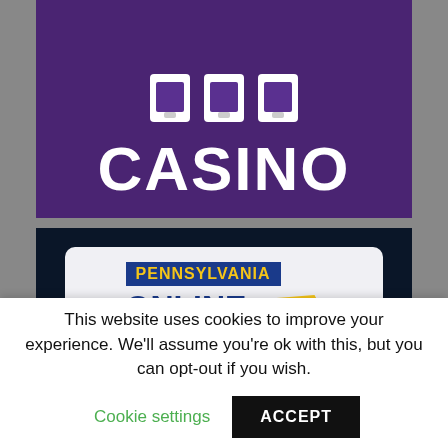[Figure (logo): Purple casino banner with slot machine icons at top and large white 'CASINO' text]
[Figure (logo): Pennsylvania Online Gambling logo on dark blue background, white rounded rectangle with blue 'PENNSYLVANIA' label in yellow text, 'ONLINE GAMBLING' in navy, and yellow Pennsylvania state shape]
This website uses cookies to improve your experience. We'll assume you're ok with this, but you can opt-out if you wish.
Cookie settings
ACCEPT